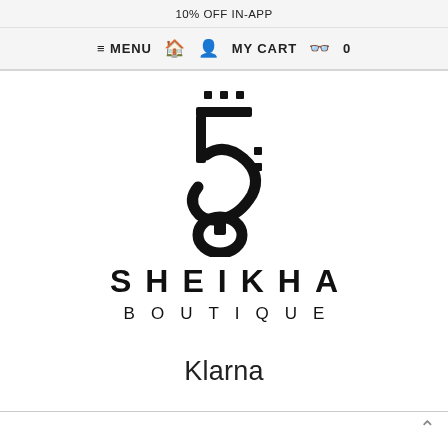10% OFF IN-APP
≡ MENU 🏠 👤 MY CART 🛍 0
[Figure (logo): Sheikha Boutique logo: Arabic calligraphy symbol above stylized Latin text reading SHEIKHA BOUTIQUE]
Klarna